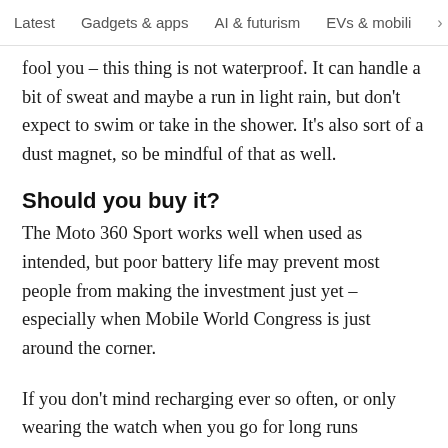Latest   Gadgets & apps   AI & futurism   EVs & mobil  >
fool you – this thing is not waterproof. It can handle a bit of sweat and maybe a run in light rain, but don't expect to swim or take in the shower. It's also sort of a dust magnet, so be mindful of that as well.
Should you buy it?
The Moto 360 Sport works well when used as intended, but poor battery life may prevent most people from making the investment just yet – especially when Mobile World Congress is just around the corner.
If you don't mind recharging ever so often, or only wearing the watch when you go for long runs outdoors, this could be the device for you. But at